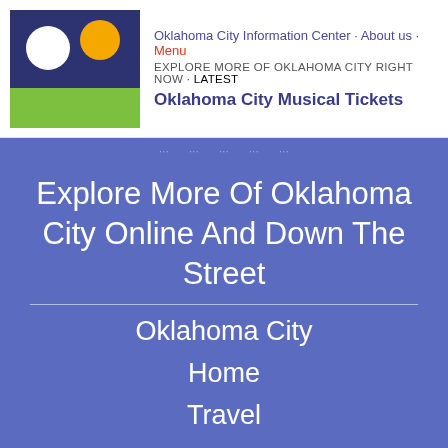Oklahoma City Information Center · About us · Menu
EXPLORE MORE OF OKLAHOMA CITY RIGHT NOW · Latest
Oklahoma City Musical Tickets
Explore More Of Oklahoma City Online And Down The Street
Oklahoma City
Home
Travel